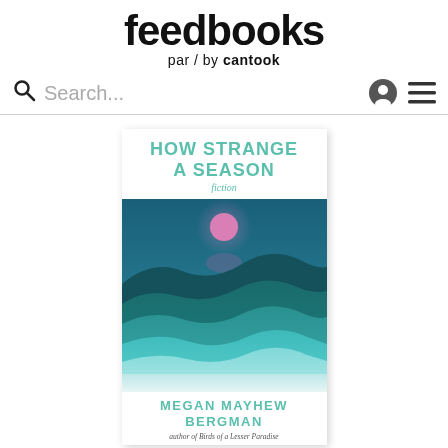feedbooks par / by cantook
Search...
[Figure (illustration): Book cover of 'How Strange a Season - fiction' by Megan Mayhew Bergman, author of Birds of a Lesser Paradise. Cover shows layered teal/green waves or hills under a pink moon against a dark teal sky.]
HOW STRANGE A SEASON fiction — MEGAN MAYHEW BERGMAN — author of Birds of a Lesser Paradise